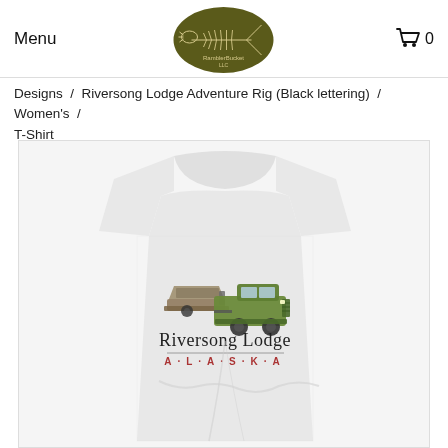Menu  [logo]  0
Designs / Riversong Lodge Adventure Rig (Black lettering) / Women's / T-Shirt
[Figure (photo): Product photo of a women's grey heathered t-shirt with Riversong Lodge Alaska adventure rig design showing a green truck towing a boat, with text 'Riversong Lodge A·L·A·S·K·A']